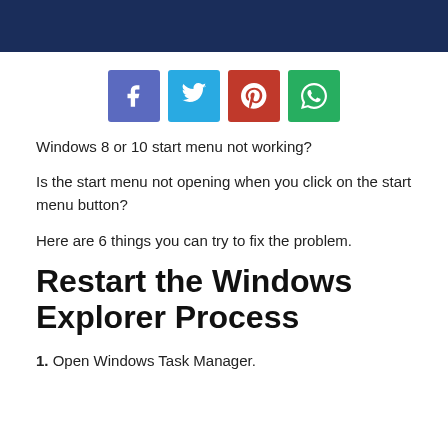[Figure (infographic): Four social share buttons: Facebook (blue-purple), Twitter (light blue), Pinterest (red), WhatsApp (green)]
Windows 8 or 10 start menu not working?
Is the start menu not opening when you click on the start menu button?
Here are 6 things you can try to fix the problem.
Restart the Windows Explorer Process
1. Open Windows Task Manager.